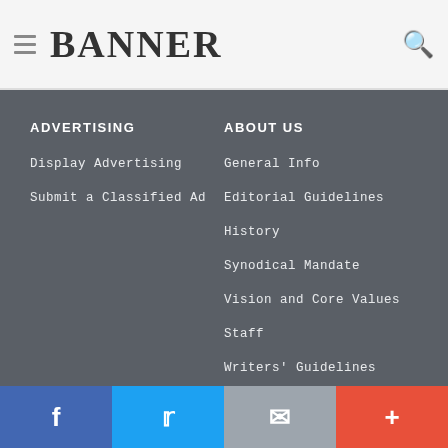BANNER
ADVERTISING
Display Advertising
Submit a Classified Ad
ABOUT US
General Info
Editorial Guidelines
History
Synodical Mandate
Vision and Core Values
Staff
Writers' Guidelines
f  t  ✉  +